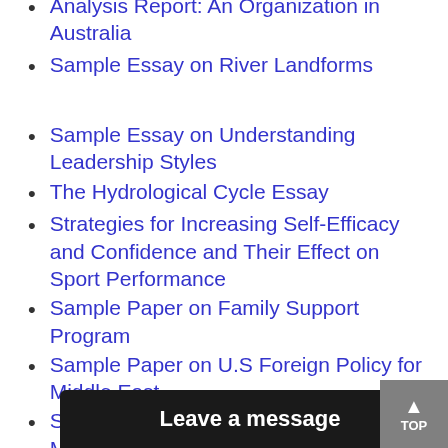Analysis Report: An Organization in Australia
Sample Essay on River Landforms
Sample Essay on Understanding Leadership Styles
The Hydrological Cycle Essay
Strategies for Increasing Self-Efficacy and Confidence and Their Effect on Sport Performance
Sample Paper on Family Support Program
Sample Paper on U.S Foreign Policy for Middle East
Sample Political Science Paper on Malcom X
S... T...